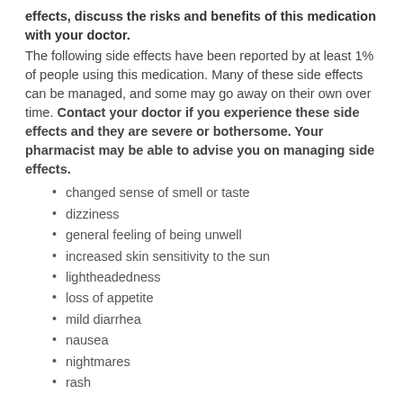effects, discuss the risks and benefits of this medication with your doctor.
The following side effects have been reported by at least 1% of people using this medication. Many of these side effects can be managed, and some may go away on their own over time. Contact your doctor if you experience these side effects and they are severe or bothersome. Your pharmacist may be able to advise you on managing side effects.
changed sense of smell or taste
dizziness
general feeling of being unwell
increased skin sensitivity to the sun
lightheadedness
loss of appetite
mild diarrhea
nausea
nightmares
rash